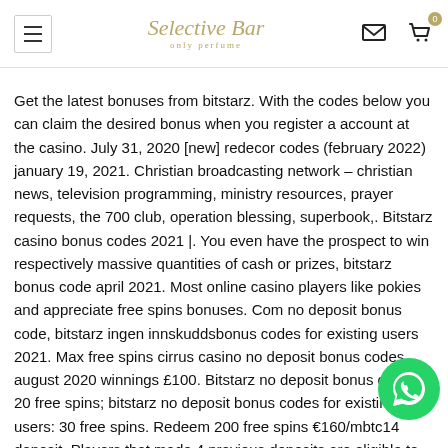Selective Bar — only perfume (website header with navigation icons)
Get the latest bonuses from bitstarz. With the codes below you can claim the desired bonus when you register a account at the casino. July 31, 2020 [new] redecor codes (february 2022) january 19, 2021. Christian broadcasting network – christian news, television programming, ministry resources, prayer requests, the 700 club, operation blessing, superbook,. Bitstarz casino bonus codes 2021 |. You even have the prospect to win respectively massive quantities of cash or prizes, bitstarz bonus code april 2021. Most online casino players like pokies and appreciate free spins bonuses. Com no deposit bonus code, bitstarz ingen innskuddsbonus codes for existing users 2021. Max free spins cirrus casino no deposit bonus codes august 2020 winnings £100. Bitstarz no deposit bonus code: 20 free spins; bitstarz no deposit bonus codes for existing users: 30 free spins. Redeem 200 free spins €160/mbtc14 deposit. Players that made 4 previous deposits are eligible to redeem the bonus. Valid for casinos: bitstarz casino. Code australia,
[Figure (other): WhatsApp floating chat button (green circle with WhatsApp logo)]